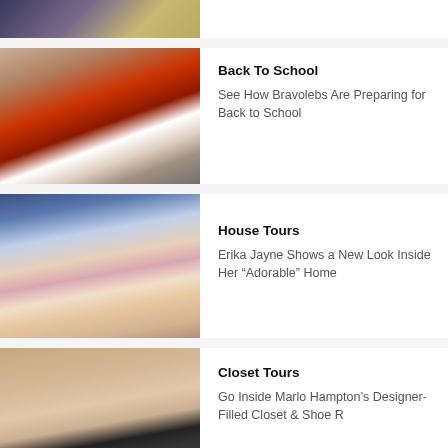[Figure (photo): Partial top image, cropped — appears to be two people in sparkly/sequined outfits]
[Figure (photo): Three people posing together — two wearing college sweatshirts (LMU Mom, red hoodie) and one in black, in a hallway]
Back To School
See How Bravolebs Are Preparing for Back to School
[Figure (photo): Blonde woman with pink eye makeup looking at camera, wearing turquoise and gold top]
House Tours
Erika Jayne Shows a New Look Inside Her “Adorable” Home
[Figure (photo): Woman standing in front of a door/closet area, smiling with mouth open]
Closet Tours
Go Inside Marlo Hampton’s Designer-Filled Closet & Shoe R…